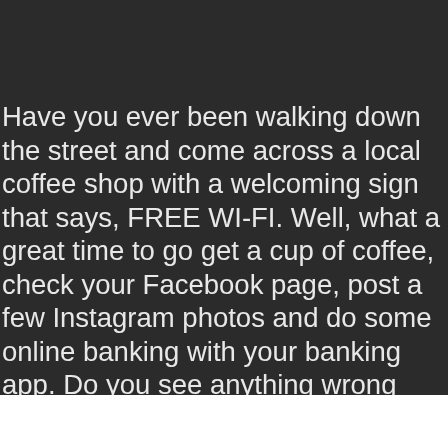Have you ever been walking down the street and come across a local coffee shop with a welcoming sign that says, FREE WI-FI. Well, what a great time to go get a cup of coffee, check your Facebook page, post a few Instagram photos and do some online banking with your banking app. Do you see anything wrong with that list? Never mind the fact that you probably shouldn't even be on Facebook or Instagram on a public Wi-Fi connection, but you should most certainly never be online banking on one.